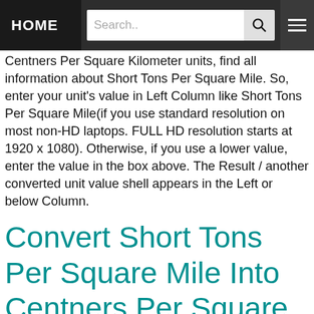HOME | Search..
Centners Per Square Kilometer units, find all information about Short Tons Per Square Mile. So, enter your unit's value in Left Column like Short Tons Per Square Mile(if you use standard resolution on most non-HD laptops. FULL HD resolution starts at 1920 x 1080). Otherwise, if you use a lower value, enter the value in the box above. The Result / another converted unit value shell appears in the Left or below Column.
Convert Short Tons Per Square Mile Into Centners Per Square Kilometer